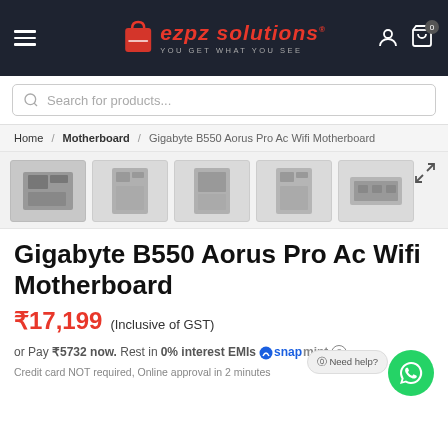ezpz solutions® you get what you see
Search for products...
Home / Motherboard / Gigabyte B550 Aorus Pro Ac Wifi Motherboard
[Figure (photo): Product thumbnail gallery showing 5 views of the Gigabyte B550 Aorus Pro AC Wifi Motherboard]
Gigabyte B550 Aorus Pro Ac Wifi Motherboard
₹17,199 (Inclusive of GST)
or Pay ₹5732 now. Rest in 0% interest EMIs snapmint ⓘ Credit card NOT required, Online approval in 2 minutes